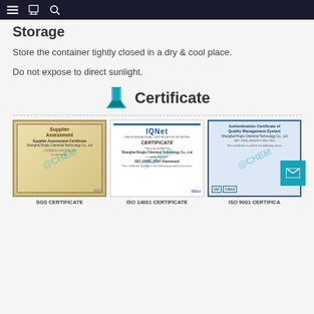Storage
Storage
Store the container tightly closed in a dry & cool place.
Do not expose to direct sunlight.
Certificate
[Figure (photo): SGS Supplier Assessment Certificate for Shanghai Ringlu Chemical Technology Co., Ltd with @CHEM watermark]
SGS CERTIFICATE
[Figure (photo): IQNet Certificate for Shanghai Ringlu Chemical Technology Co., Ltd in conformity with ISO 14001:2004 with @CHEM watermark]
ISO 14001 CERTIFICATE
[Figure (photo): Authentication Certificate of Quality Management System for Shanghai Ringlu Chemical Technology Co., Ltd, GBT 19001-2016/ISO 9001:2015 with @CHEM watermark]
ISO 9001 CERTIFICATE